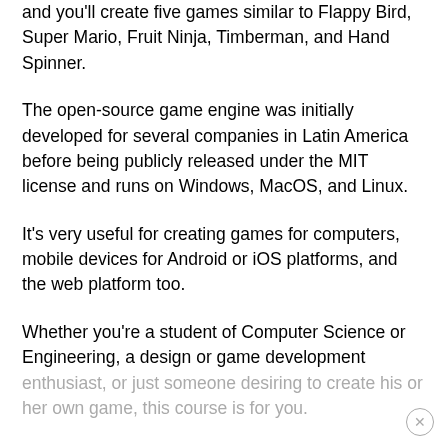and you'll create five games similar to Flappy Bird, Super Mario, Fruit Ninja, Timberman, and Hand Spinner.
The open-source game engine was initially developed for several companies in Latin America before being publicly released under the MIT license and runs on Windows, MacOS, and Linux.
It's very useful for creating games for computers, mobile devices for Android or iOS platforms, and the web platform too.
Whether you're a student of Computer Science or Engineering, a design or game development enthusiast, or just someone desiring to create his or her own game, this course is for you.